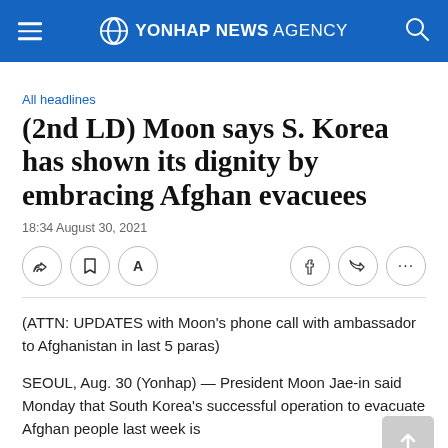YONHAP NEWS AGENCY
All headlines
(2nd LD) Moon says S. Korea has shown its dignity by embracing Afghan evacuees
18:34 August 30, 2021
(ATTN: UPDATES with Moon's phone call with ambassador to Afghanistan in last 5 paras)
SEOUL, Aug. 30 (Yonhap) — President Moon Jae-in said Monday that South Korea's successful operation to evacuate Afghan people last week is